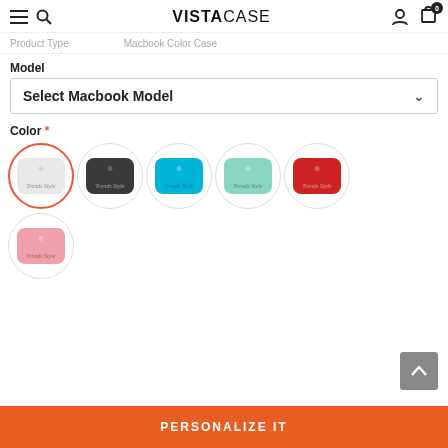VISTACASE
Product Type   Macbook Color Case
Model
Select Macbook Model
Color *
[Figure (illustration): Six color swatches in circles: white (selected, with red border), dark gray, cyan blue, mint green, red, and pink. Each swatch shows a rounded rectangle representing a MacBook case with a script logo.]
PERSONALIZE IT